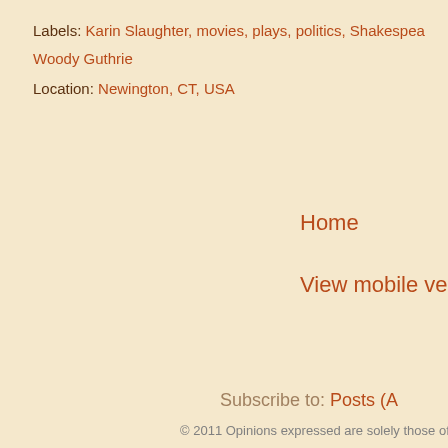Labels: Karin Slaughter, movies, plays, politics, Shakespea Woody Guthrie
Location: Newington, CT, USA
Home
View mobile vers
Subscribe to: Posts (A
© 2011 Opinions expressed are solely those of a